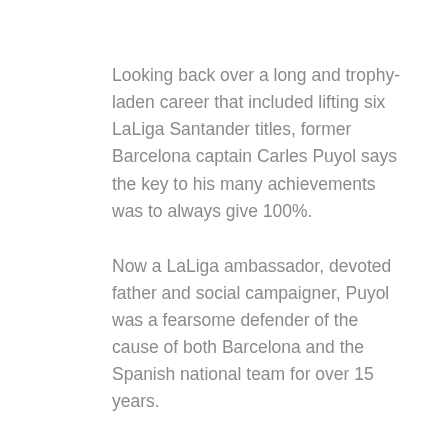Looking back over a long and trophy-laden career that included lifting six LaLiga Santander titles, former Barcelona captain Carles Puyol says the key to his many achievements was to always give 100%.
Now a LaLiga ambassador, devoted father and social campaigner, Puyol was a fearsome defender of the cause of both Barcelona and the Spanish national team for over 15 years.
Asked for some advice to the youngster who made his Barça debut back in October 1999, Puyol laughs that he might maybe have taken things a bit easier, before recalling that it was